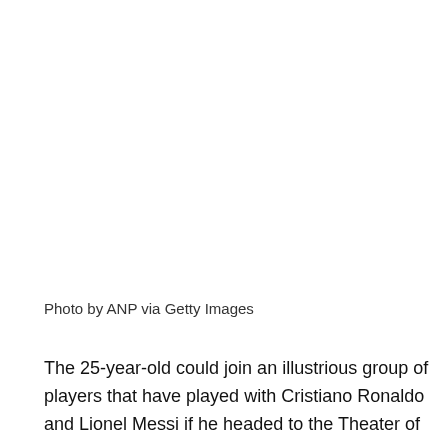Photo by ANP via Getty Images
The 25-year-old could join an illustrious group of players that have played with Cristiano Ronaldo and Lionel Messi if he headed to the Theater of